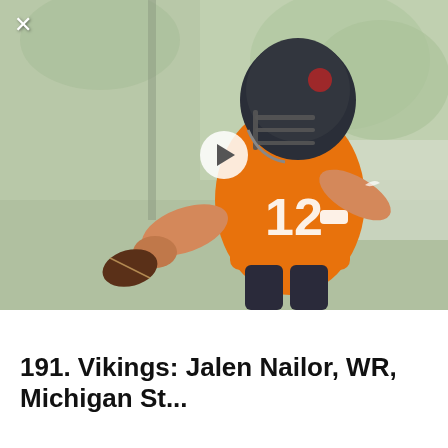[Figure (photo): Football player wearing an orange jersey with number 12 and a dark helmet, holding a football in a throwing position during what appears to be an outdoor training session. There is a play button overlay in the center of the image, and an X close button in the top left corner.]
191. Vikings: Jalen Nailor, WR, Michigan St...